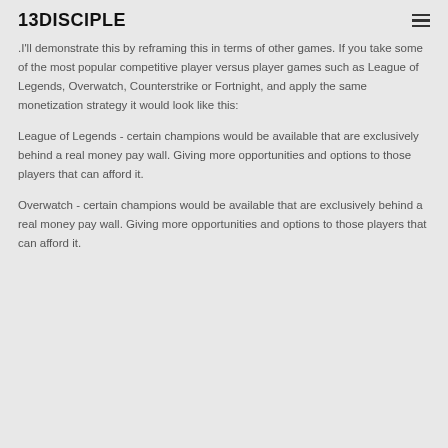13DISCIPLE
.I'll demonstrate this by reframing this in terms of other games. If you take some of the most popular competitive player versus player games such as League of Legends, Overwatch, Counterstrike or Fortnight, and apply the same monetization strategy it would look like this:
League of Legends - certain champions would be available that are exclusively behind a real money pay wall. Giving more opportunities and options to those players that can afford it.
Overwatch - certain champions would be available that are exclusively behind a real money pay wall. Giving more opportunities and options to those players that can afford it.